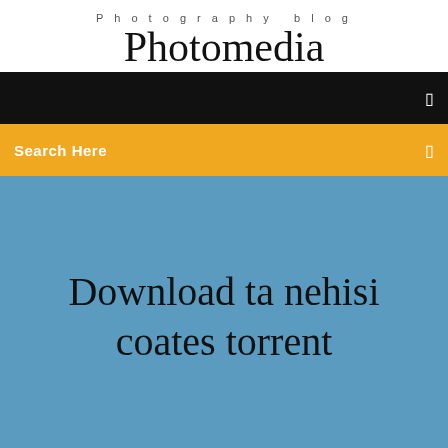Photography blog
Photomedia
☰
Search Here
☰
Download ta nehisi coates torrent